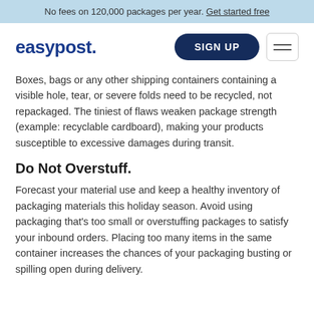No fees on 120,000 packages per year. Get started free
[Figure (logo): EasyPost logo with blue bold text 'easypost.' and a Sign Up button and hamburger menu]
Boxes, bags or any other shipping containers containing a visible hole, tear, or severe folds need to be recycled, not repackaged. The tiniest of flaws weaken package strength (example: recyclable cardboard), making your products susceptible to excessive damages during transit.
Do Not Overstuff.
Forecast your material use and keep a healthy inventory of packaging materials this holiday season. Avoid using packaging that's too small or overstuffing packages to satisfy your inbound orders. Placing too many items in the same container increases the chances of your packaging busting or spilling open during delivery.